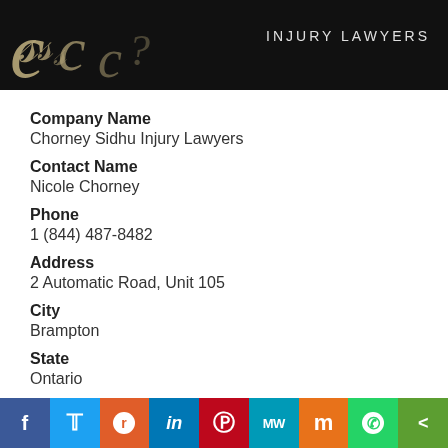[Figure (logo): Chorney Sidhu Injury Lawyers logo — dark background with stylized C letterforms in gold/tan and 'INJURY LAWYERS' text in white uppercase letters]
Company Name
Chorney Sidhu Injury Lawyers
Contact Name
Nicole Chorney
Phone
1 (844) 487-8482
Address
2 Automatic Road, Unit 105
City
Brampton
State
Ontario
[Figure (infographic): Social sharing bar with icons for Facebook, Twitter, Reddit, LinkedIn, Pinterest, MeWe, Mix, WhatsApp, and a share button]